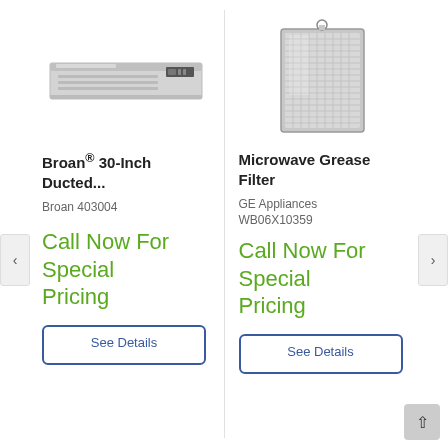[Figure (photo): Broan stainless steel 30-inch under-cabinet range hood, horizontal profile view]
[Figure (photo): GE Appliances microwave grease filter, rectangular metallic mesh filter with hanging ring]
Broan® 30-Inch Ducted...
Microwave Grease Filter
Broan 403004
GE Appliances
WB06X10359
Call Now For Special Pricing
Call Now For Special Pricing
See Details
See Details